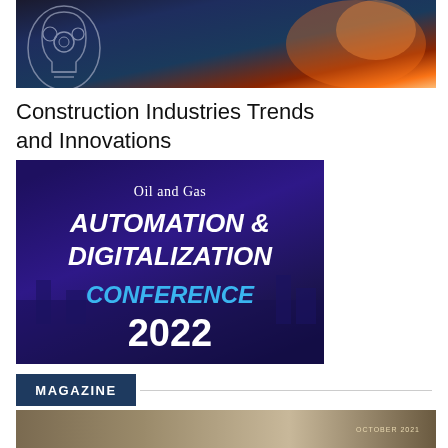[Figure (photo): Technology/innovation photo showing person holding glowing digital device with gear/lightbulb overlay, orange and blue tones]
Construction Industries Trends and Innovations
[Figure (other): Oil and Gas Automation & Digitalization Conference 2022 banner with dark blue/purple background and white/cyan text]
MAGAZINE
[Figure (photo): Bottom partial image with brown/tan tones, appears to be a magazine cover with 'OCTOBER 2021' text visible]